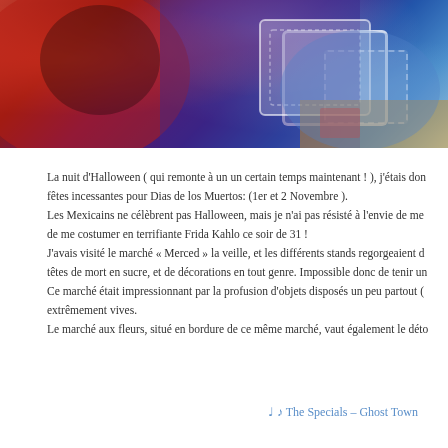[Figure (photo): Photograph of colorful Halloween/Dia de los Muertos costumes with vivid red and blue tones, featuring lace fabric details on a doll or costume]
La nuit d'Halloween ( qui remonte à un un certain temps maintenant ! ), j'étais don fêtes incessantes pour Dias de los Muertos: (1er et 2 Novembre ). Les Mexicains ne célèbrent pas Halloween, mais je n'ai pas résisté à l'envie de me de me costumer en terrifiante Frida Kahlo ce soir de 31 ! J'avais visité le marché « Merced » la veille, et les différents stands regorgeaient d têtes de mort en sucre, et de décorations en tout genre. Impossible donc de tenir un Ce marché était impressionnant par la profusion d'objets disposés un peu partout ( extrêmement vives. Le marché aux fleurs, situé en bordure de ce même marché, vaut également le déto
♩ ♪ The Specials – Ghost Town